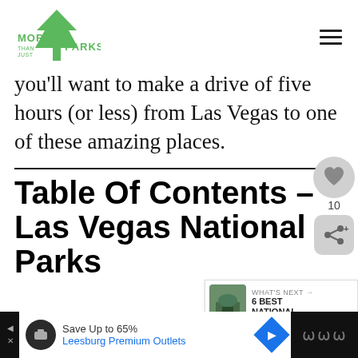[Figure (logo): More Than Just Parks logo — green arrowhead/tree mark with text]
you'll want to make a drive of five hours (or less) from Las Vegas to one of these amazing places.
Table Of Contents – Las Vegas National Parks
[Figure (infographic): Social sidebar with heart/like button showing count 10 and share button]
[Figure (infographic): What's Next widget showing 6 BEST NATIONAL... thumbnail]
[Figure (infographic): Advertisement bar: Save Up to 65% Leesburg Premium Outlets]